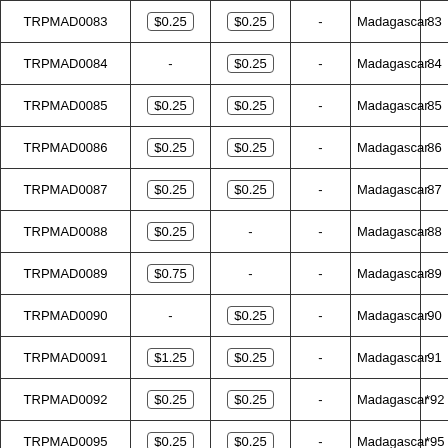| TRPMAD0083 | $0.25 | $0.25 | - | Madagascar | 83 |
| TRPMAD0084 | - | $0.25 | - | Madagascar | 84 |
| TRPMAD0085 | $0.25 | $0.25 | - | Madagascar | 85 |
| TRPMAD0086 | $0.25 | $0.25 | - | Madagascar | 86 |
| TRPMAD0087 | $0.25 | $0.25 | - | Madagascar | 87 |
| TRPMAD0088 | $0.25 | - | - | Madagascar | 88 |
| TRPMAD0089 | $0.75 | - | - | Madagascar | 89 |
| TRPMAD0090 | - | $0.25 | - | Madagascar | 90 |
| TRPMAD0091 | $1.25 | $0.25 | - | Madagascar | 91 |
| TRPMAD0092 | $0.25 | $0.25 | - | Madagascar | *92 |
| TRPMAD0095 | $0.25 | $0.25 | - | Madagascar | *95 |
| TRPMAD0097 | $0.70 | $0.30 | - | Madagascar | 97 |